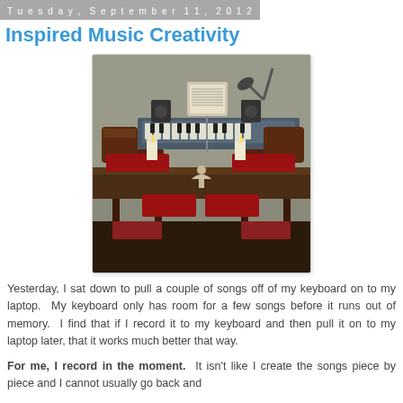Tuesday, September 11, 2012
Inspired Music Creativity
[Figure (photo): A dining room table with red placemats, candles, and a figurine in the foreground, with a keyboard synthesizer, music stand with sheet music, and a desk lamp visible in the background against a textured wall.]
Yesterday, I sat down to pull a couple of songs off of my keyboard on to my laptop.  My keyboard only has room for a few songs before it runs out of memory.  I find that if I record it to my keyboard and then pull it on to my laptop later, that it works much better that way.
For me, I record in the moment.  It isn't like I create the songs piece by piece and I cannot usually go back and